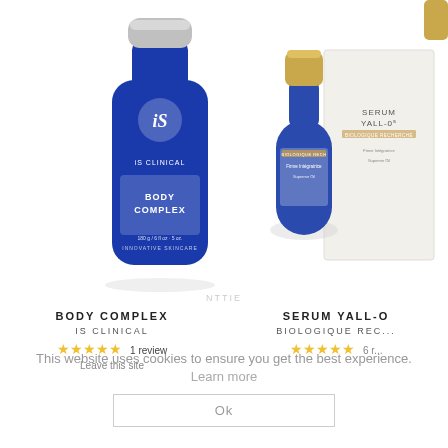[Figure (photo): iS Clinical Body Complex blue bottle with silver cap, front label showing brand logo and product name]
[Figure (photo): Biologique Recherche Serum Yall-O blue bottle with gold cap alongside white product box]
BODY COMPLEX
IS CLINICAL
★★★★★ 1 review
Leave this site
SERUM YALL-O
BIOLOGIQUE REC...
★★★★★ 6 r...
This website uses cookies to ensure you get the best experience. Learn more
Ok